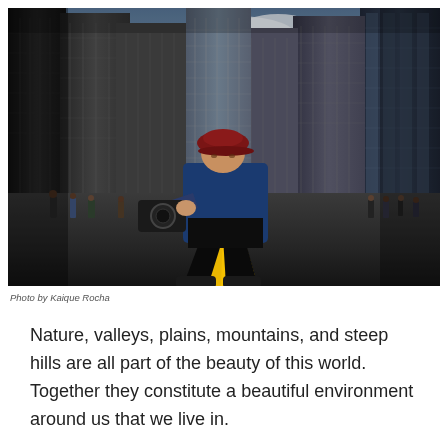[Figure (photo): A photographer crouching low on a city street with a camera, surrounded by tall skyscrapers and yellow road markings, dramatic low-angle perspective. Photo taken in an urban downtown area.]
Photo by Kaique Rocha
Nature, valleys, plains, mountains, and steep hills are all part of the beauty of this world. Together they constitute a beautiful environment around us that we live in.